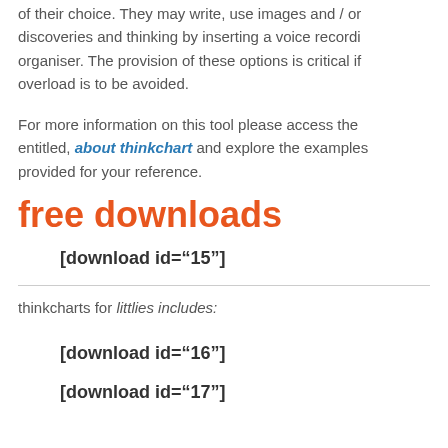of their choice. They may write, use images and / or discoveries and thinking by inserting a voice recording organiser. The provision of these options is critical if overload is to be avoided.
For more information on this tool please access the entitled, about thinkchart and explore the examples provided for your reference.
free downloads
[download id="15"]
thinkcharts for littlies includes:
[download id="16"]
[download id="17"]